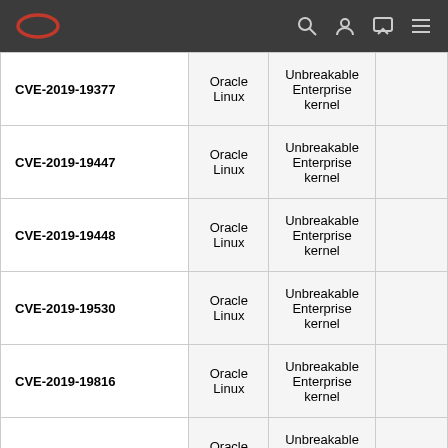Oracle
| CVE | Product | Component |  |
| --- | --- | --- | --- |
| CVE-2019-19377 | Oracle Linux | Unbreakable Enterprise kernel |  |
| CVE-2019-19447 | Oracle Linux | Unbreakable Enterprise kernel |  |
| CVE-2019-19448 | Oracle Linux | Unbreakable Enterprise kernel |  |
| CVE-2019-19530 | Oracle Linux | Unbreakable Enterprise kernel |  |
| CVE-2019-19816 | Oracle Linux | Unbreakable Enterprise kernel |  |
| CVE-2019-20934 | Oracle Linux | Unbreakable Enterprise kernel |  |
| CVE-2020-10711 | Oracle Linux | Unbreakable Enterprise kernel |  |